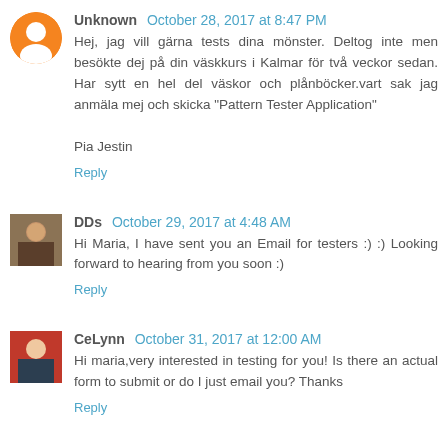[Figure (illustration): Blogger profile orange circle avatar icon with white person silhouette]
Unknown October 28, 2017 at 8:47 PM
Hej, jag vill gärna tests dina mönster. Deltog inte men besökte dej på din väskkurs i Kalmar för två veckor sedan. Har sytt en hel del väskor och plånböcker.vart sak jag anmäla mej och skicka "Pattern Tester Application"

Pia Jestin
Reply
[Figure (photo): Profile photo of DDs commenter]
DDs October 29, 2017 at 4:48 AM
Hi Maria, I have sent you an Email for testers :) :) Looking forward to hearing from you soon :)
Reply
[Figure (photo): Profile photo of CeLynn commenter]
CeLynn October 31, 2017 at 12:00 AM
Hi maria,very interested in testing for you! Is there an actual form to submit or do I just email you? Thanks
Reply